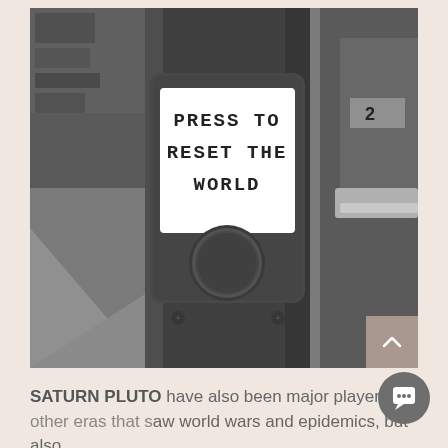[Figure (photo): Black and white photograph of a street crossing button mounted on a metal pole with a white rectangular label reading 'PRESS TO RESET THE WORLD' above a circular black button.]
SATURN PLUTO have also been major players in other eras that saw world wars and epidemics, but also,